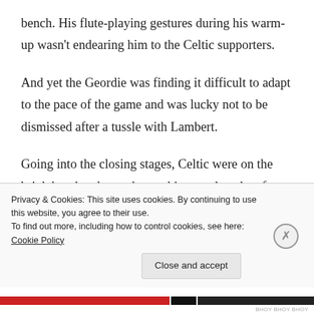bench. His flute-playing gestures during his warm-up wasn't endearing him to the Celtic supporters.
And yet the Geordie was finding it difficult to adapt to the pace of the game and was lucky not to be dismissed after a tussle with Lambert.
Going into the closing stages, Celtic were on the brink but they knew that nothing can be taken for granted in a fixture like this. Goram wasn't giving up the fight anyway as he brilliantly saved a venomous strike from
Privacy & Cookies: This site uses cookies. By continuing to use this website, you agree to their use.
To find out more, including how to control cookies, see here: Cookie Policy
Close and accept